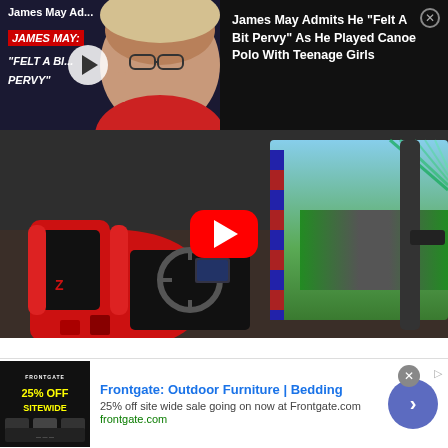[Figure (screenshot): Video thumbnail showing James May with text 'JAMES MAY: FELT A BIT PERVY' overlay and a play button]
James Admits He "Felt A Bit Pervy" As He Played Canoe Polo With Teenage Girls
[Figure (screenshot): YouTube video thumbnail showing racing simulator rig setup with a large curved screen displaying a race track, with YouTube play button overlay]
♦ Follow Grand Tour Nation on Google News
[Figure (screenshot): Advertisement for Frontgate: Outdoor Furniture | Bedding with 25% off site wide sale and a Frontgate product image thumbnail]